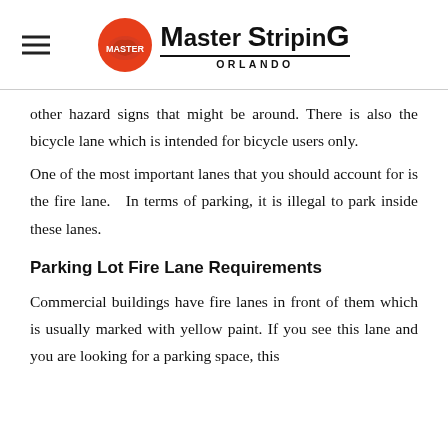Master Striping Orlando
other hazard signs that might be around. There is also the bicycle lane which is intended for bicycle users only.
One of the most important lanes that you should account for is the fire lane.  In terms of parking, it is illegal to park inside these lanes.
Parking Lot Fire Lane Requirements
Commercial buildings have fire lanes in front of them which is usually marked with yellow paint. If you see this lane and you are looking for a parking space, this